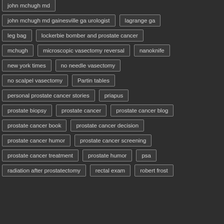john mchugh md
john mchugh md gainesville ga urologist
lagrange ga
leg bag
lockerbie bomber and prostate cancer
mchugh
microscopic vasectomy reversal
nanoknife
new york times
no needle vasectomy
no scalpel vasectomy
Partin tables
personal prostate cancer stories
priapus
prostate biopsy
prostate cancer
prostate cancer blog
prostate cancer book
prostate cancer decision
prostate cancer humor
prostate cancer screening
prostate cancer treatment
prostate humor
psa
radiation after prostatectomy
rectal exam
robert frost